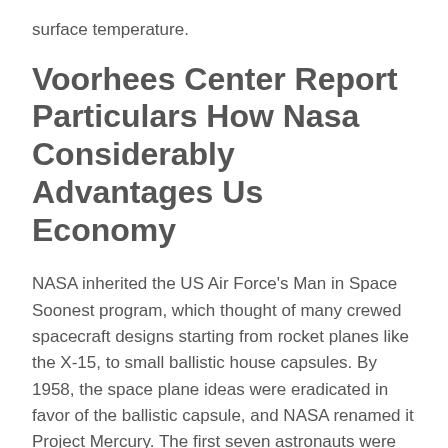surface temperature.
Voorhees Center Report Particulars How Nasa Considerably Advantages Us Economy
NASA inherited the US Air Force's Man in Space Soonest program, which thought of many crewed spacecraft designs starting from rocket planes like the X-15, to small ballistic house capsules. By 1958, the space plane ideas were eradicated in favor of the ballistic capsule, and NASA renamed it Project Mercury. The first seven astronauts were selected among candidates from the Navy, Air Force and Marine check pilot packages. On May 5, 1961, astronaut Alan Shepard turned the primary American in area aboard a capsule he named Freedom 7, launched on a Redstone booster on a 15-minute ballistic flight. John Glenn turned the first American to be launched into orbit, on an Atlas launch car on February